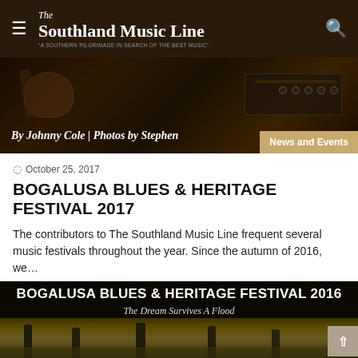The Southland Music Line — "A Southern Pilgrimage In Search Of The Best Music"
[Figure (photo): Dark banner image with guitar/amplifier elements, text overlaid: 'By Johnny Cole | Photos by Stephen' with a 'News and Events' badge]
October 25, 2017
BOGALUSA BLUES & HERITAGE FESTIVAL 2017
The contributors to The Southland Music Line frequent several music festivals throughout the year. Since the autumn of 2016, we…
Read More »
[Figure (photo): Black banner with text 'BOGALUSA BLUES & HERITAGE FESTIVAL 2016 / The Dream Survives A Flood' above a swamp/bayou landscape with cypress trees]